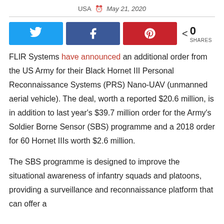USA  May 21, 2020
[Figure (other): Social media share buttons: Twitter, Facebook, Pinterest, and a share count showing 0 SHARES]
FLIR Systems have announced an additional order from the US Army for their Black Hornet III Personal Reconnaissance Systems (PRS) Nano-UAV (unmanned aerial vehicle). The deal, worth a reported $20.6 million, is in addition to last year's $39.7 million order for the Army's Soldier Borne Sensor (SBS) programme and a 2018 order for 60 Hornet IIIs worth $2.6 million.
The SBS programme is designed to improve the situational awareness of infantry squads and platoons, providing a surveillance and reconnaissance platform that can offer a